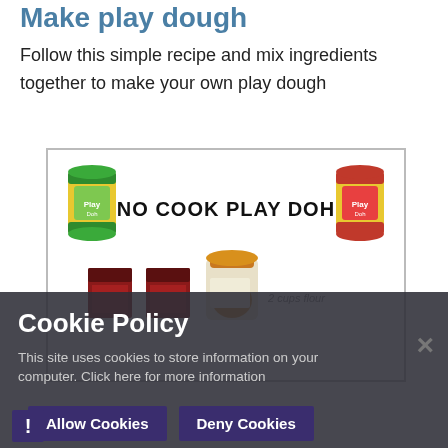Make play dough
Follow this simple recipe and mix ingredients together to make your own play dough
[Figure (illustration): Recipe card illustration showing 'NO COOK PLAY DOH' title with two colorful play-doh cans (green/yellow/red and red/yellow) flanking the title, and below showing ingredient icons including red cans and a jar with text '2 cups flour' partially visible.]
Cookie Policy
This site uses cookies to store information on your computer. Click here for more information
Allow Cookies
Deny Cookies